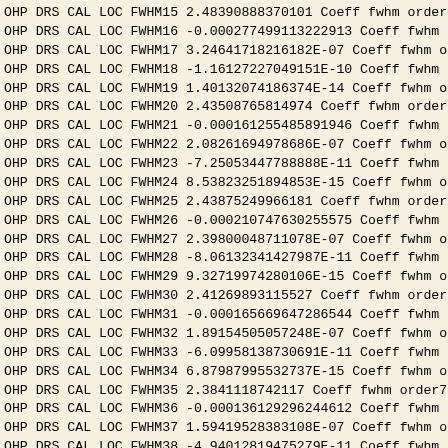OHP DRS CAL LOC FWHM15 2.48390888370101 Coeff fwhm order
OHP DRS CAL LOC FWHM16 -0.000277499113222913 Coeff fwhm o
OHP DRS CAL LOC FWHM17 3.24641718216182E-07 Coeff fwhm or
OHP DRS CAL LOC FWHM18 -1.16127227049151E-10 Coeff fwhm o
OHP DRS CAL LOC FWHM19 1.40132074186374E-14 Coeff fwhm or
OHP DRS CAL LOC FWHM20 2.43508765814974 Coeff fwhm order
OHP DRS CAL LOC FWHM21 -0.000161255485891946 Coeff fwhm o
OHP DRS CAL LOC FWHM22 2.08261694978686E-07 Coeff fwhm or
OHP DRS CAL LOC FWHM23 -7.25053447788888E-11 Coeff fwhm o
OHP DRS CAL LOC FWHM24 8.53823251894853E-15 Coeff fwhm or
OHP DRS CAL LOC FWHM25 2.43875249966181 Coeff fwhm order5
OHP DRS CAL LOC FWHM26 -0.000210747630255575 Coeff fwhm o
OHP DRS CAL LOC FWHM27 2.39800048711078E-07 Coeff fwhm or
OHP DRS CAL LOC FWHM28 -8.06132341427987E-11 Coeff fwhm o
OHP DRS CAL LOC FWHM29 9.32719974280106E-15 Coeff fwhm or
OHP DRS CAL LOC FWHM30 2.41269893115527 Coeff fwhm order6
OHP DRS CAL LOC FWHM31 -0.000165669647286544 Coeff fwhm o
OHP DRS CAL LOC FWHM32 1.89154505057248E-07 Coeff fwhm or
OHP DRS CAL LOC FWHM33 -6.09958138730691E-11 Coeff fwhm o
OHP DRS CAL LOC FWHM34 6.87987995532737E-15 Coeff fwhm or
OHP DRS CAL LOC FWHM35 2.3841118742117 Coeff fwhm order7
OHP DRS CAL LOC FWHM36 -0.000136129296244612 Coeff fwhm o
OHP DRS CAL LOC FWHM37 1.59419528383108E-07 Coeff fwhm or
OHP DRS CAL LOC FWHM38 -4.94012819475279E-11 Coeff fwhm o
OHP DRS CAL LOC FWHM39 5.35880709421959E-15 Coeff fwhm or
OHP DRS CAL LOC FWHM40 2.38409059419674 Coeff fwhm order8
OHP DRS CAL LOC FWHM41 -0.000201215696748719 Coeff fwhm o
OHP DRS CAL LOC FWHM42 2.27850155901933E-07 Coeff fwhm or
OHP DRS CAL LOC FWHM43 -7.78443976277517E-11 Coeff fwhm o
OHP DRS CAL LOC FWHM44 9.36555142906106E-15 Coeff fwhm o